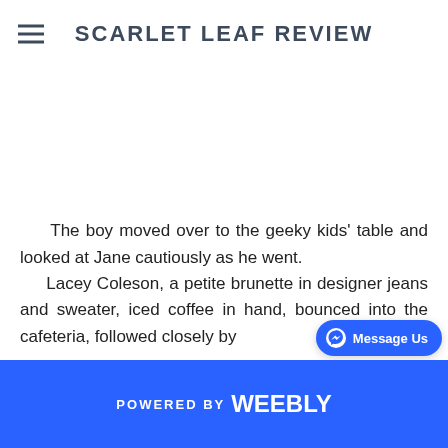SCARLET LEAF REVIEW
The boy moved over to the geeky kids' table and looked at Jane cautiously as he went.
	Lacey Coleson, a petite brunette in designer jeans and sweater, iced coffee in hand, bounced into the cafeteria, followed closely by
POWERED BY weebly